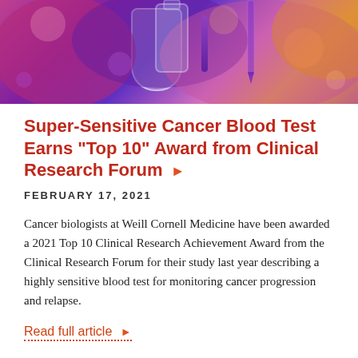[Figure (photo): Laboratory photo with colorful bokeh lights in pink, purple, and orange tones, with glassware visible in the foreground]
Super-Sensitive Cancer Blood Test Earns “Top 10” Award from Clinical Research Forum
FEBRUARY 17, 2021
Cancer biologists at Weill Cornell Medicine have been awarded a 2021 Top 10 Clinical Research Achievement Award from the Clinical Research Forum for their study last year describing a highly sensitive blood test for monitoring cancer progression and relapse.
Read full article
Dr. Dan Landau, Research, Sandra and Edward Meyer Cancer Center, Awards & Honors